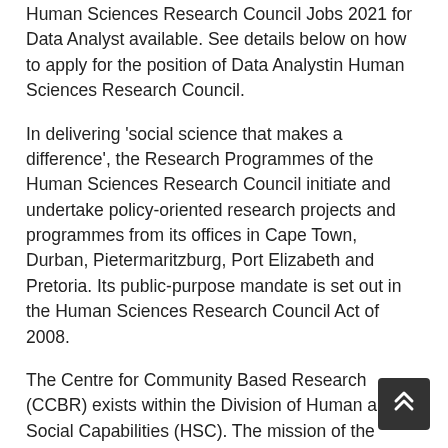Human Sciences Research Council Jobs 2021 for Data Analyst available. See details below on how to apply for the position of Data Analystin Human Sciences Research Council.
In delivering 'social science that makes a difference', the Research Programmes of the Human Sciences Research Council initiate and undertake policy-oriented research projects and programmes from its offices in Cape Town, Durban, Pietermaritzburg, Port Elizabeth and Pretoria. Its public-purpose mandate is set out in the Human Sciences Research Council Act of 2008.
The Centre for Community Based Research (CCBR) exists within the Division of Human and Social Capabilities (HSC). The mission of the CCBR is to understand, identify and improve community wellbeing by exploring, describing and addressing health, education and quality of life through community...